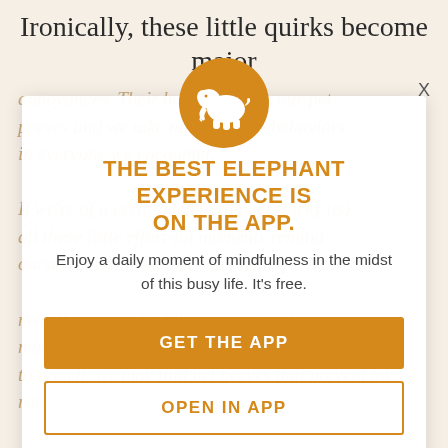Ironically, these little quirks become major
annoyances. Their habits become our pet peeves and we take note of those behaviors in everyone we encounter.
If we're of a certain temperament (lucky us) all these little effort-ful moments remind ourselves when we just can't let it go. If myself, we may find them amusing. I must admit, writing about it to myself, we may find pet peeves that prevent my run like a spinning hamster to tire out
[Figure (logo): Elephant app logo: white elephant silhouette on an orange/golden circle]
THE BEST ELEPHANT EXPERIENCE IS ON THE APP.
Enjoy a daily moment of mindfulness in the midst of this busy life. It's free.
GET THE APP
OPEN IN APP